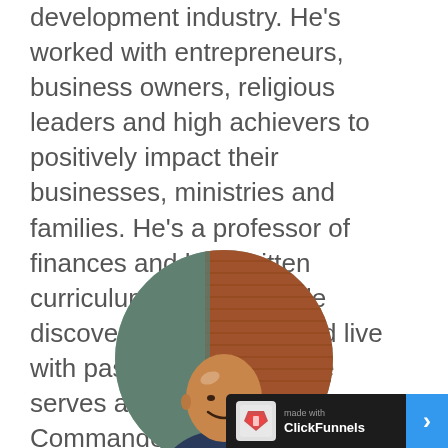development industry. He's worked with entrepreneurs, business owners, religious leaders and high achievers to positively impact their businesses, ministries and families. He's a professor of finances and has written curriculum helping people discover their purpose and live with passion. Currently, he serves as a Lieutenant Commander as a Chaplain in the United States Navy. Marc and his family live in San Diego, California.
[Figure (photo): Circular portrait photo of a bald man smiling, with a brick wall background. The photo is cropped in a circle.]